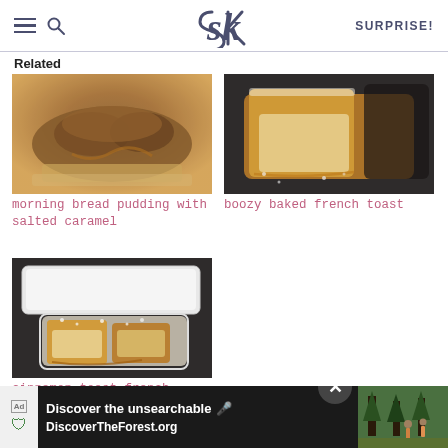SK — SURPRISE!
Related
[Figure (photo): Morning bread pudding with salted caramel — golden caramelized bread pudding on a white plate]
morning bread pudding with salted caramel
[Figure (photo): Boozy baked french toast — slice of golden french toast dusted with powdered sugar on dark surface]
boozy baked french toast
[Figure (photo): Cinnamon toast french toast — slices of french toast on a white plate with powdered sugar]
cinnamon toast french toast + book preview
[Figure (screenshot): Ad banner: Discover the unsearchable — DiscoverTheForest.org with hikers in forest background]